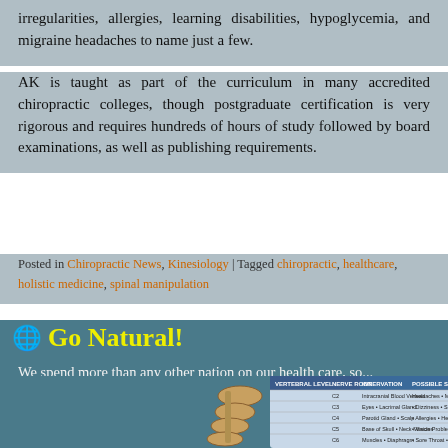irregularities, allergies, learning disabilities, hypoglycemia, and migraine headaches to name just a few.
AK is taught as part of the curriculum in many accredited chiropractic colleges, though postgraduate certification is very rigorous and requires hundreds of hours of study followed by board examinations, as well as publishing requirements.
Posted in Chiropractic News, Kinesiology | Tagged chiropractic, healthcare, holistic medicine, spinal manipulation
Go Natural!
We spend more than any other nation on our health care, so...
Why aren't we the healthiest country in the world?!
Everyone is looking for effective, natural alternatives to drugs and surgery.
This website is dedicated to helping you find the answers you're looking for.
[Figure (table-as-image): Spinal vertebral level chart showing nerve roots, innervation and possible symptoms]